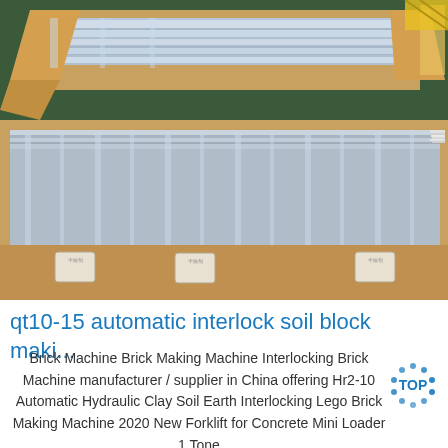[Figure (photo): Photo of stacked metallic/aluminum sheets wrapped in brown kraft paper packaging, placed on a green factory floor. Several small white desiccant packets are visible on the floor.]
qt10-15 automatic interlock soil block maki...
Brick Machine Brick Making Machine Interlocking Brick Machine manufacturer / supplier in China offering Hr2-10 Automatic Hydraulic Clay Soil Earth Interlocking Lego Brick Making Machine 2020 New Forklift for Concrete Mini Loader 1 Tone